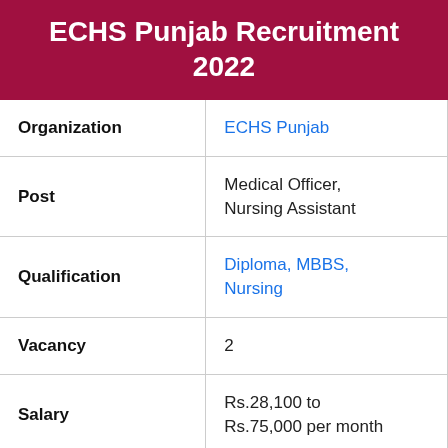ECHS Punjab Recruitment 2022
| Field | Value |
| --- | --- |
| Organization | ECHS Punjab |
| Post | Medical Officer, Nursing Assistant |
| Qualification | Diploma, MBBS, Nursing |
| Vacancy | 2 |
| Salary | Rs.28,100 to Rs.75,000 per month |
| Job Location | Fazilka, Punjab |